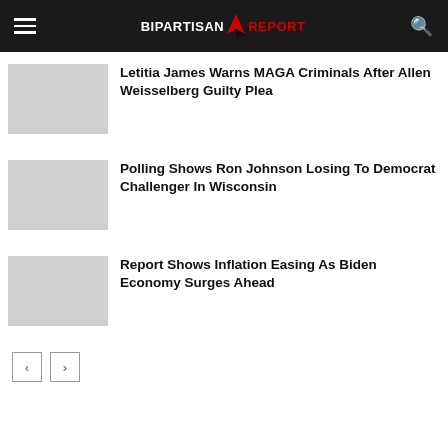BIPARTISAN REPORT
Letitia James Warns MAGA Criminals After Allen Weisselberg Guilty Plea
Polling Shows Ron Johnson Losing To Democrat Challenger In Wisconsin
Report Shows Inflation Easing As Biden Economy Surges Ahead